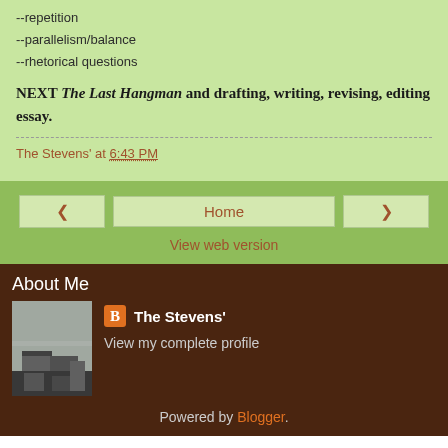--repetition
--parallelism/balance
--rhetorical questions
NEXT The Last Hangman and drafting, writing, revising, editing essay.
The Stevens' at 6:43 PM
Home
View web version
About Me
The Stevens'
View my complete profile
Powered by Blogger.